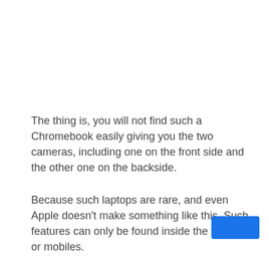The thing is, you will not find such a Chromebook easily giving you the two cameras, including one on the front side and the other one on the backside.
Because such laptops are rare, and even Apple doesn't make something like this. Such features can only be found inside the tablets or mobiles.
[Figure (other): Blue navigation button in bottom-right corner]